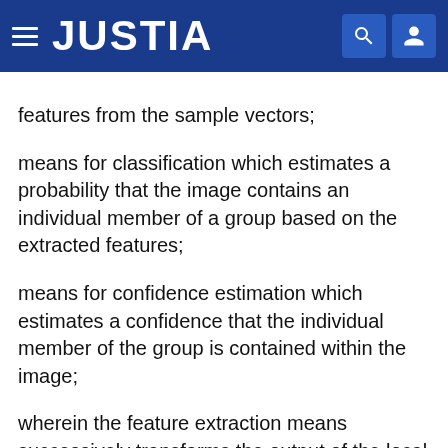JUSTIA
features from the sample vectors; means for classification which estimates a probability that the image contains an individual member of a group based on the extracted features; means for confidence estimation which estimates a confidence that the individual member of the group is contained within the image; wherein the feature extraction means successively transforms the output of the local image sampling means into a plurality of new representations which successively correspond to a set of higher level features of the image; and wherein the confidence estimation means generates the confidence according to y.sub.m (y.sub.m -y.sub.2m), where y.sub.m is a first